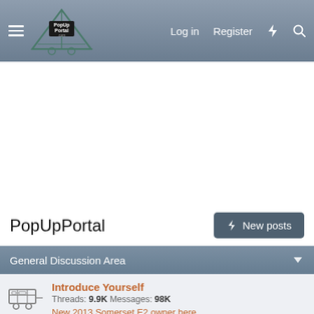PopUpPortal.com — Log in  Register
PopUpPortal
General Discussion Area
Introduce Yourself — Threads: 9.9K  Messages: 98K — New 2013 Somerset E2 owner here — 13 minutes ago · Akrnmonica
General Camping Discussion Forum — Threads: 7K  Messages: 126.6K